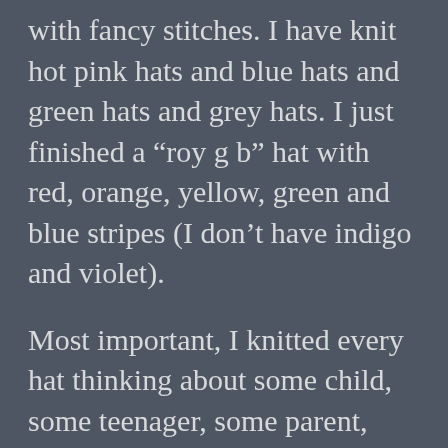with fancy stitches. I have knit hot pink hats and blue hats and green hats and grey hats. I just finished a “roy g b” hat with red, orange, yellow, green and blue stripes (I don’t have indigo and violet).
Most important, I knitted every hat thinking about some child, some teenager, some parent, some homeless person who will be a little warmer during the cold Michigan